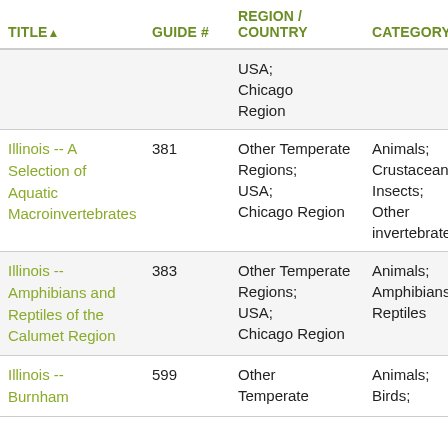| TITLE▲ | GUIDE # | REGION / COUNTRY | CATEGORY / SU |
| --- | --- | --- | --- |
|  |  | USA; Chicago Region |  |
| Illinois -- A Selection of Aquatic Macroinvertebrates | 381 | Other Temperate Regions; USA; Chicago Region | Animals; Crustaceans; Insects; Other invertebrates |
| Illinois -- Amphibians and Reptiles of the Calumet Region | 383 | Other Temperate Regions; USA; Chicago Region | Animals; Amphibians; Reptiles |
| Illinois -- Burnham | 599 | Other Temperate | Animals; Birds; |